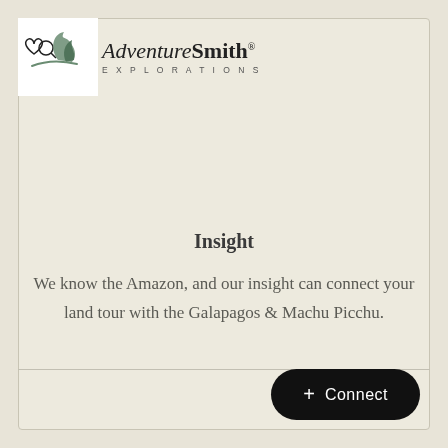[Figure (logo): AdventureSmith Explorations logo with mountain/nature icon and company name in serif italic font with EXPLORATIONS subtitle in spaced caps]
Insight
We know the Amazon, and our insight can connect your land tour with the Galapagos & Machu Picchu.
+ Connect